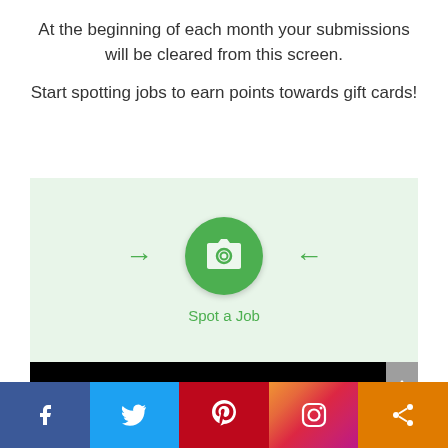At the beginning of each month your submissions will be cleared from this screen.
Start spotting jobs to earn points towards gift cards!
[Figure (screenshot): Mobile app screenshot showing a green camera button labeled 'Spot a Job' with left and right arrows on a light green background, and an Android navigation bar below. A gray scroll-up button appears on the right side.]
[Figure (infographic): Social media sharing bar with Facebook, Twitter, Pinterest, Instagram, and share icons]